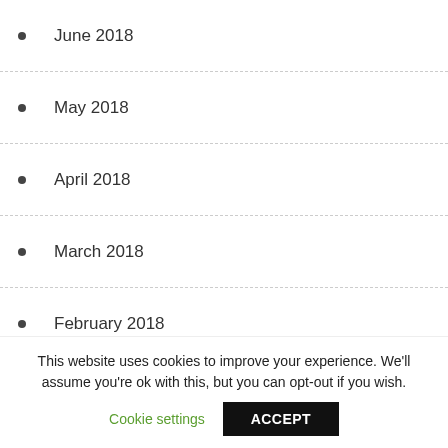June 2018
May 2018
April 2018
March 2018
February 2018
January 2018
December 2017
November 2017
October 2017
This website uses cookies to improve your experience. We'll assume you're ok with this, but you can opt-out if you wish.
Cookie settings | ACCEPT